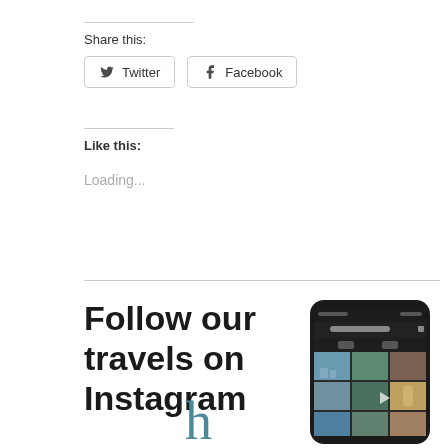Share this:
Twitter
Facebook
Like this:
Loading...
Follow our travels on Instagram
[Figure (photo): Screenshot of an Instagram profile page shown on a smartphone, displaying a grid of travel photos]